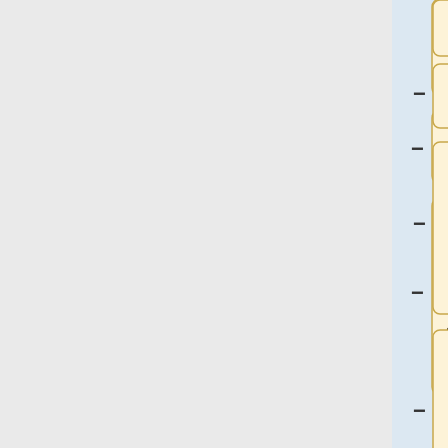[Figure (flowchart): Neural network or decision tree diagram showing nodes with numerical parameters (EP, ED, N, MP, MD, MN values) connected by plus and minus operators to blue output boxes. Multiple rows of beige parameter boxes with values like 0.8342, 0.7185; dashed lines node; Entry 0 node with EP:-2.737 ED:-0.01248 N:-0.02252 MP:-0.8014 MD:0.2146 MN:0.6219; node with EP: ED:2.699 N:-1.172 MP:0.5104 MD:1.879 MN:0.921 -0.3856; and partial node with EP: ED:1.984]